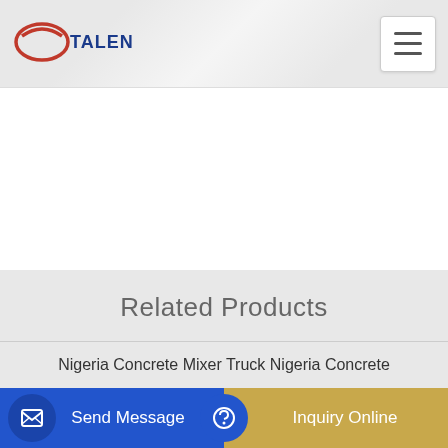TALENET
Related Products
Nigeria Concrete Mixer Truck Nigeria Concrete
mitsubishi fuso concrete mixer Nigeria Concrete Batching Plants Cost
readymix batching plant cost
Send Message
Inquiry Online